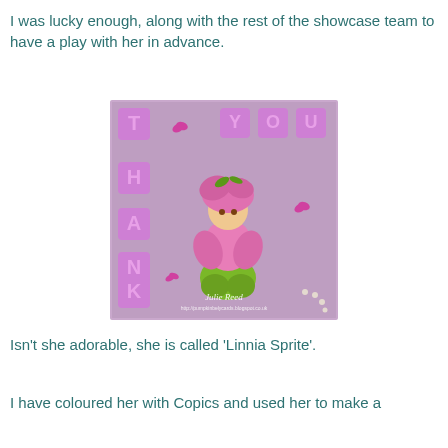I was lucky enough, along with the rest of the showcase team to have a play with her in advance.
[Figure (photo): A handmade 'THANK YOU' card with a purple background featuring a cute fairy character called 'Linnia Sprite' dressed in pink flower petals and green trousers, with pink butterfly embellishments and pearl decorations. The letters T, H, A, N, K are arranged vertically on the left side and Y, O, U across the top. Signed by Julie Reed with website http://pumpkinbelycards.blogspot.co.uk]
Isn't she adorable, she is called 'Linnia Sprite'.
I have coloured her with Copics and used her to make a